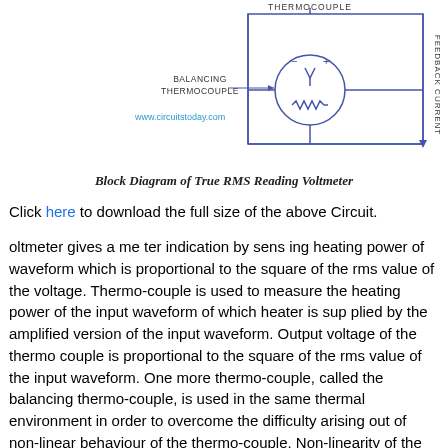[Figure (circuit-diagram): Block diagram of True RMS Reading Voltmeter showing thermocouple, balancing thermocouple with circle symbol containing resistor, and feedback current label on the right side. Website www.circuitstoday.com shown in blue.]
Block Diagram of True RMS Reading Voltmeter
Click here to download the full size of the above Circuit.
oltmeter gives a me ter indication by sens ing heating power of waveform which is proportional to the square of the rms value of the voltage. Thermo-couple is used to measure the heating power of the input waveform of which heater is sup plied by the amplified version of the input waveform. Output voltage of the thermo couple is proportional to the square of the rms value of the input waveform. One more thermo-couple, called the balancing thermo-couple, is used in the same thermal environment in order to overcome the difficulty arising out of non-linear behaviour of the thermo-couple. Non-linearity of the input circuit thermo-couple is cancelled by the similar non-linear effects of the balancing thermo-couple. These thermo-couples form part of a bridge in the input circuit of a dc